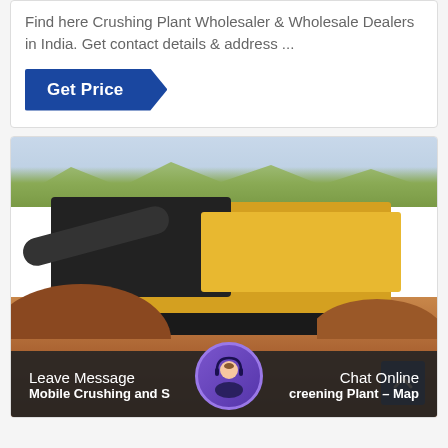Find here Crushing Plant Wholesaler & Wholesale Dealers in India. Get contact details & address ...
[Figure (other): Blue 'Get Price' button with arrow-cut right edge]
[Figure (photo): Yellow mobile crushing and screening plant machine operating on a red soil construction site, with trees and mountains in the background]
Leave Message
Chat Online
Mobile Crushing and Screening Plant - Map